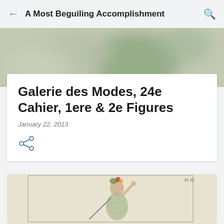A Most Beguiling Accomplishment
[Figure (photo): Blurred background banner image with soft green and beige tones]
Galerie des Modes, 24e Cahier, 1ere & 2e Figures
January 22, 2013
[Figure (illustration): Historical fashion illustration from Galerie des Modes showing a woman in 18th century dress with elaborate fruit and foliage headdress, raising one hand, holding a rod, labeled Pl. 92]